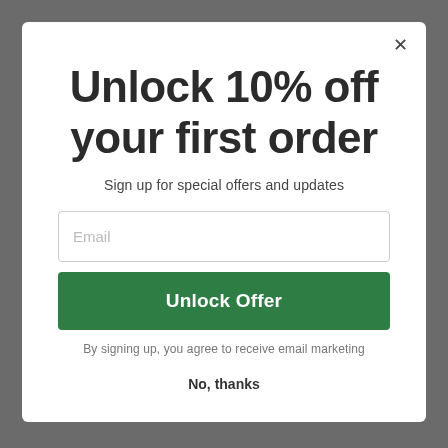Unlock 10% off your first order
Sign up for special offers and updates
Email
Unlock Offer
By signing up, you agree to receive email marketing
No, thanks